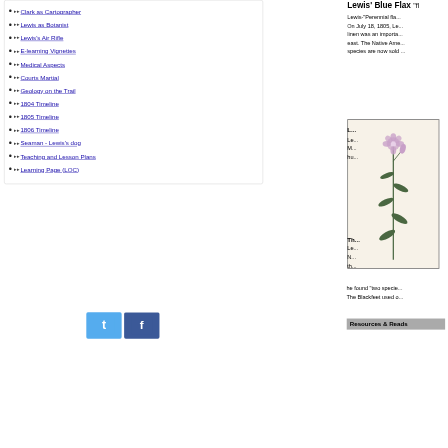Clark as Cartographer
Lewis as Botanist
Lewis's Air Rifle
E-learning Vignettes
Medical Aspects
Courts Martial
Geology on the Trail
1804 Timeline
1805 Timeline
1806 Timeline
Seaman - Lewis's dog
Teaching and Lesson Plans
Learning Page (LOC)
[Figure (logo): Twitter and Facebook social media icons]
Lewis' Blue Flax
Lewis-"Perennial flax... On July 18, 1805, Le... linen was an importa... east. The Native Ame... species are now sold...
[Figure (illustration): Botanical illustration of Lewis's Blue Flax plant with stem, leaves, and flower]
he found "two specie... The Blackfeet used o...
Resources & Reads